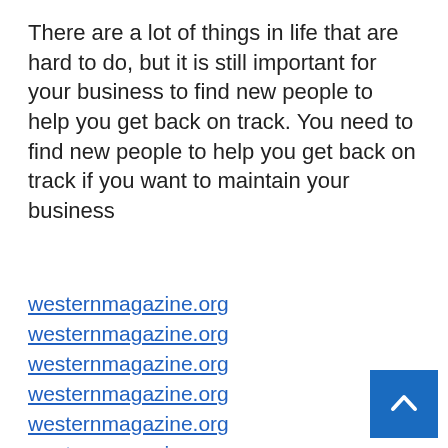There are a lot of things in life that are hard to do, but it is still important for your business to find new people to help you get back on track. You need to find new people to help you get back on track if you want to maintain your business
westernmagazine.org
westernmagazine.org
westernmagazine.org
westernmagazine.org
westernmagazine.org
westernmagazine.org
westernmagazine.org
westernmagazine.org
westernmagazine.org